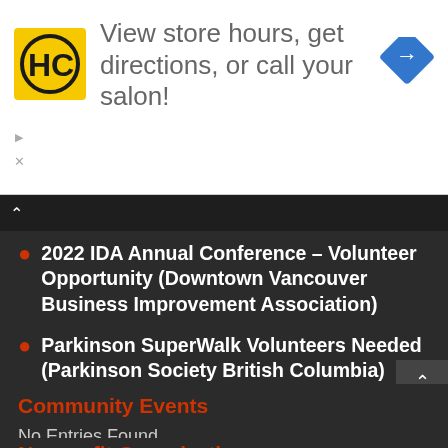[Figure (logo): HC logo: yellow square with black H and C letters inside a circle]
View store hours, get directions, or call your salon!
[Figure (illustration): Blue diamond navigation arrow icon pointing right]
2022 IDA Annual Conference – Volunteer Opportunity (Downtown Vancouver Business Improvement Association)
Parkinson SuperWalk Volunteers Needed (Parkinson Society British Columbia)
Community Events
No Entries Found
Nonprofit Organizations